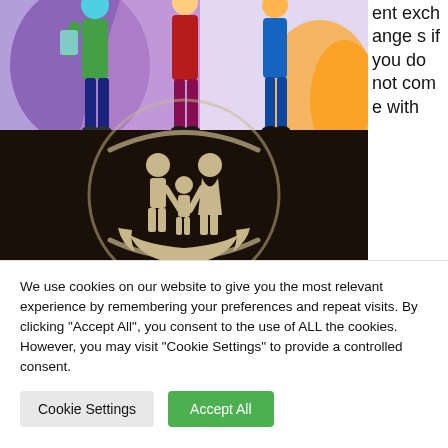[Figure (illustration): Top portion: colorful illustration of people standing (partial view, cropped at top). Bottom portion: dark background with circular logo showing a family (man, child, woman) held in cupped hands.]
ent exchanges if you do not come with
We use cookies on our website to give you the most relevant experience by remembering your preferences and repeat visits. By clicking "Accept All", you consent to the use of ALL the cookies. However, you may visit "Cookie Settings" to provide a controlled consent.
Cookie Settings
Accept All